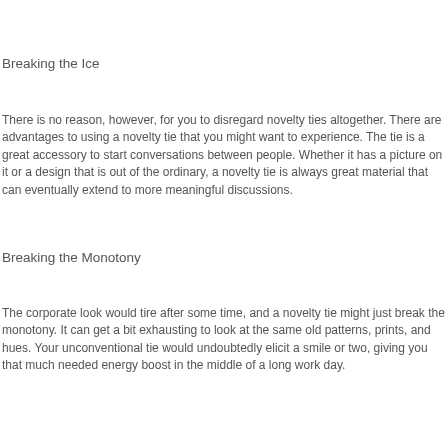Breaking the Ice
There is no reason, however, for you to disregard novelty ties altogether. There are advantages to using a novelty tie that you might want to experience. The tie is a great accessory to start conversations between people. Whether it has a picture on it or a design that is out of the ordinary, a novelty tie is always great material that can eventually extend to more meaningful discussions.
Breaking the Monotony
The corporate look would tire after some time, and a novelty tie might just break the monotony. It can get a bit exhausting to look at the same old patterns, prints, and hues. Your unconventional tie would undoubtedly elicit a smile or two, giving you that much needed energy boost in the middle of a long work day.